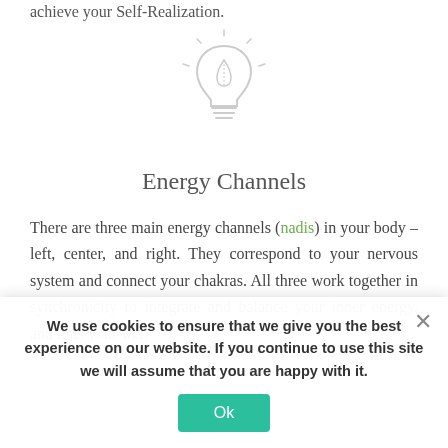achieve your Self-Realization.
[Figure (illustration): Light bulb icon with a leaf inside, drawn in light gray outline style with small radial lines suggesting light rays.]
Energy Channels
There are three main energy channels (nadis) in your body – left, center, and right. They correspond to your nervous system and connect your chakras. All three work together in synchronicity to integrate and balance your inner energy, and thus your well-
We use cookies to ensure that we give you the best experience on our website. If you continue to use this site we will assume that you are happy with it.